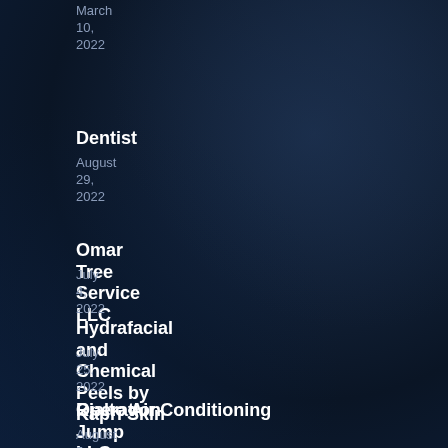March 10, 2022
Dentist
August 29, 2022
Omar Tree Service LLC
July 4, 2022
Hydrafacial and Chemical Peels by Kapri Skin
July 25, 2022
Operation Jump LLC
August 5, 2022
Rialto Air Conditioning
July 25, 2022